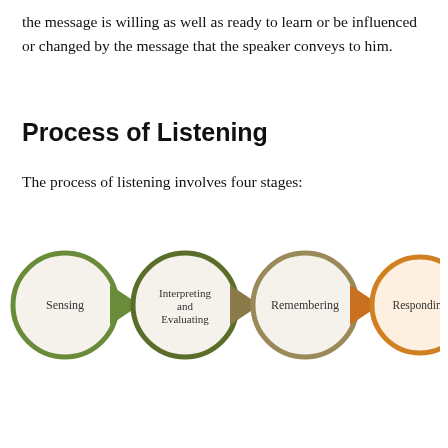the message is willing as well as ready to learn or be influenced or changed by the message that the speaker conveys to him.
Process of Listening
The process of listening involves four stages:
[Figure (flowchart): Four circular stages of listening process connected by arrow shapes: Sensing (green border), Interpreting and Evaluating (dark green border), Remembering (tan/brown border), Responding (orange border). Arrows between each circle in matching colors.]